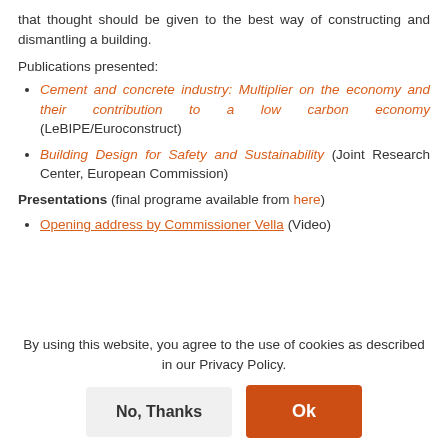that thought should be given to the best way of constructing and dismantling a building.
Publications presented:
Cement and concrete industry: Multiplier on the economy and their contribution to a low carbon economy (LeBIPE/Euroconstruct)
Building Design for Safety and Sustainability (Joint Research Center, European Commission)
Presentations (final programe available from here)
Opening address by Commissioner Vella (Video)
By using this website, you agree to the use of cookies as described in our Privacy Policy.
Ok
No, Thanks